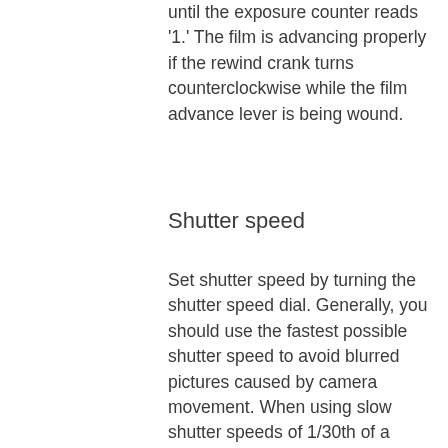until the exposure counter reads '1.' The film is advancing properly if the rewind crank turns counterclockwise while the film advance lever is being wound.
Shutter speed
Set shutter speed by turning the shutter speed dial. Generally, you should use the fastest possible shutter speed to avoid blurred pictures caused by camera movement. When using slow shutter speeds of 1/30th of a second or slower (such as in low light situations or for purposely blurring a moving object) it is advisable to use a tripod (available from Media Loan). If using a flash set the shutter speed at 1/60th of a second. (See the Media Loan Vivitar Guide for flash instructions.)